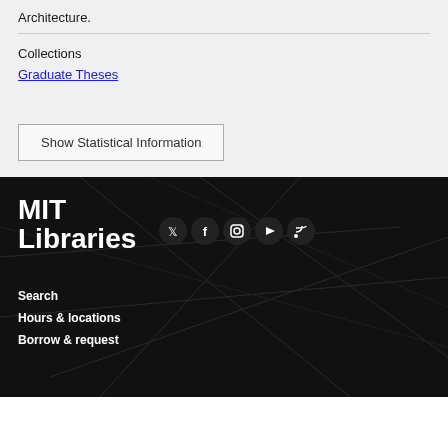Architecture.
Collections
Graduate Theses
Show Statistical Information
[Figure (logo): MIT Libraries logo in white text on dark background with geometric line pattern]
[Figure (infographic): Social media icons: Twitter, Facebook, Instagram, YouTube, RSS]
Search
Hours & locations
Borrow & request